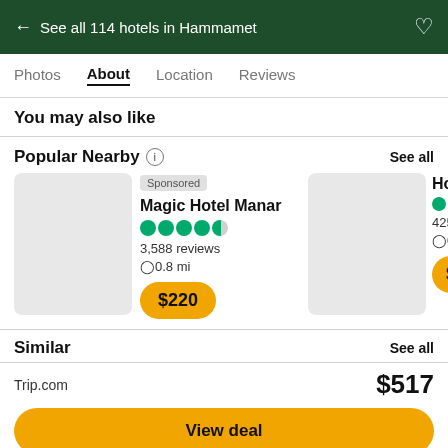← See all 114 hotels in Hammamet
Photos | About | Location | Reviews
You may also like
Popular Nearby
See all
Sponsored
Magic Hotel Manar
3,588 reviews
0.8 mi
$220
Hotel El ...
425 reviews
0.09 mi
$58
Similar
See all
Trip.com
$517
View deal